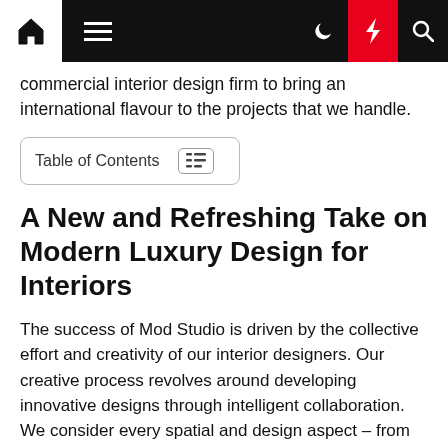Navigation bar with home, menu, dark mode, lightning, and search icons
commercial interior design firm to bring an international flavour to the projects that we handle.
Table of Contents
A New and Refreshing Take on Modern Luxury Design for Interiors
The success of Mod Studio is driven by the collective effort and creativity of our interior designers. Our creative process revolves around developing innovative designs through intelligent collaboration. We consider every spatial and design aspect – from visual appeal to function and space-efficiency – to create interiors that are not only